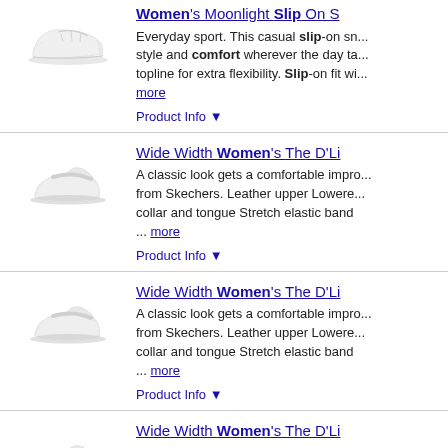[Figure (photo): White women's slip-on sneaker, side view]
Women's Moonlight Slip On S... Everyday sport. This casual slip-on sn... style and comfort wherever the day ta... topline for extra flexibility. Slip-on fit wi... more Product Info
[Figure (photo): White women's clog/mule shoe, side view]
Wide Width Women's The D'Li... A classic look gets a comfortable impro... from Skechers. Leather upper Lowere... collar and tongue Stretch elastic band ... more Product Info
[Figure (photo): White women's clog/mule shoe, side view]
Wide Width Women's The D'Li... A classic look gets a comfortable impro... from Skechers. Leather upper Lowere... collar and tongue Stretch elastic band ... more Product Info
[Figure (photo): White women's clog/mule shoe, side view]
Wide Width Women's The D'Li... A classic look gets a comfortable impro... from Skechers. Leather upper Lowere... collar and tongue Stretch elastic band ... more Product Info